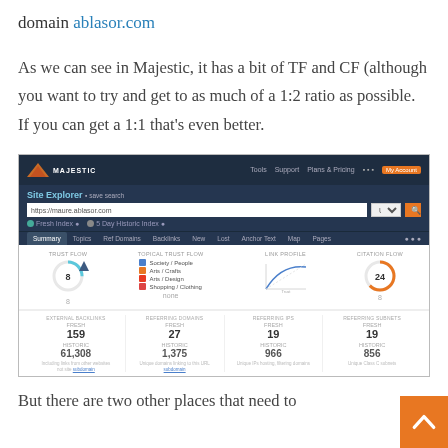domain ablasor.com
As we can see in Majestic, it has a bit of TF and CF (although you want to try and get to as much of a 1:2 ratio as possible. If you can get a 1:1 that's even better.
[Figure (screenshot): Majestic Site Explorer screenshot showing metrics for ablasor.com: Trust Flow 8, Citation Flow 24, External Backlinks Fresh 159 / Historic 61,308, Referring Domains Fresh 27 / Historic 1,375, Referring IPs Fresh 19 / Historic 966, Referring Subnets Fresh 19 / Historic 856]
But there are two other places that need to